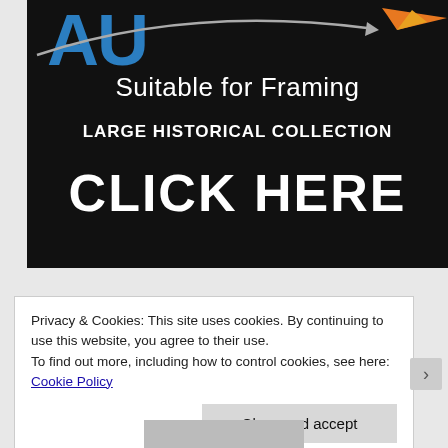[Figure (illustration): Dark advertisement banner with blue 'AU' logo text, orange bird graphic, curved arrow graphic, white text reading 'Suitable for Framing', 'LARGE HISTORICAL COLLECTION', and 'CLICK HERE']
Privacy & Cookies: This site uses cookies. By continuing to use this website, you agree to their use.
To find out more, including how to control cookies, see here: Cookie Policy
Close and accept